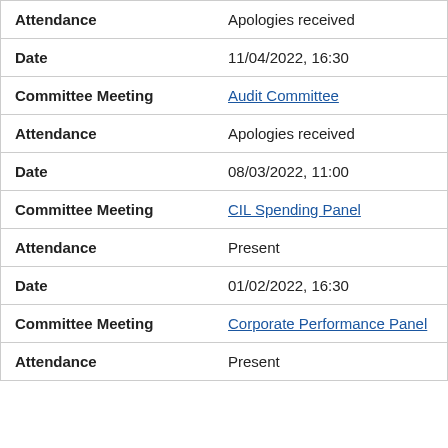| Attendance | Apologies received |
| Date | 11/04/2022, 16:30 |
| Committee Meeting | Audit Committee |
| Attendance | Apologies received |
| Date | 08/03/2022, 11:00 |
| Committee Meeting | CIL Spending Panel |
| Attendance | Present |
| Date | 01/02/2022, 16:30 |
| Committee Meeting | Corporate Performance Panel |
| Attendance | Present |